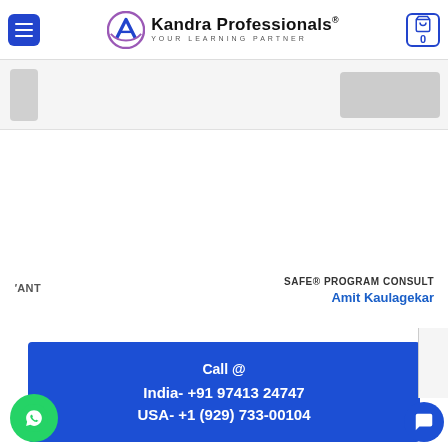Kandra Professionals® — YOUR LEARNING PARTNER
[Figure (screenshot): Partial view of a product/course card with grey placeholder elements]
ANT
SAFE® PROGRAM CONSULT
Amit Kaulagekar
Call @
India- +91 97413 24747
USA- +1 (929) 733-00104